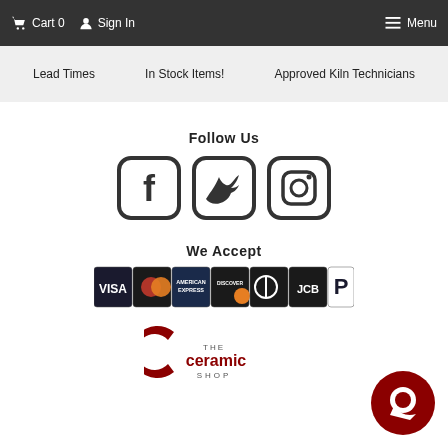Cart 0  Sign In  Menu
Lead Times  In Stock Items!  Approved Kiln Technicians
Follow Us
[Figure (illustration): Social media icons: Facebook, Twitter, Instagram in rounded square outlines]
We Accept
[Figure (illustration): Payment method icons: VISA, MasterCard, American Express, Discover, Diners Club, JCB, PayPal]
[Figure (logo): The Ceramic Shop logo with stylized C and text]
[Figure (illustration): Red circular chat/support button icon]